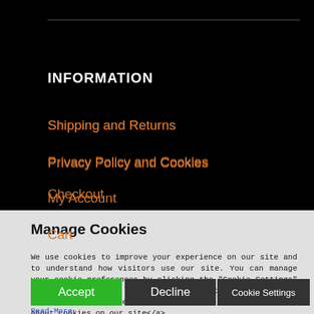INFORMATION
Shipping and Returns
Privacy Policy and Cookies
My Account
Cart
Checkout
Manage Cookies
We use cookies to improve your experience on our site and to understand how visitors use our site. You can manage your cookie preferences by clicking the "Cookie Settings" button below. You can review your cookie preference settings at any time. <a href="privacy-policy">Read more about cookies on our site</a>
Read More